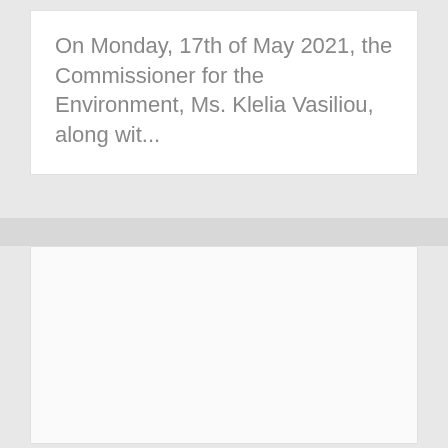On Monday, 17th of May 2021, the Commissioner for the Environment, Ms. Klelia Vasiliou, along wit...
[Figure (photo): A largely blank/white image panel below a gray divider strip, appearing to be a placeholder or partially loaded image area.]